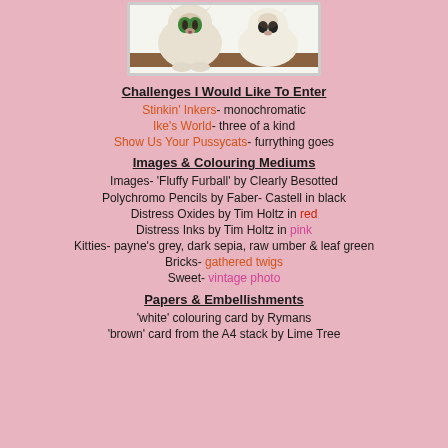[Figure (illustration): Cartoon illustration of two cats (Siamese/white fluffy cats) with big green eyes, sitting together, with a decorative border frame.]
Challenges I Would Like To Enter
Stinkin' Inkers- monochromatic
Ike's World- three of a kind
Show Us Your Pussycats- furrything goes
Images & Colouring Mediums
Images- 'Fluffy Furball' by Clearly Besotted
Polychromo Pencils by Faber- Castell in black
Distress Oxides by Tim Holtz in red
Distress Inks by Tim Holtz in pink
Kitties- payne's grey, dark sepia, raw umber & leaf green
Bricks- gathered twigs
Sweet- vintage photo
Papers & Embellishments
'white' colouring card by Rymans
'brown' card from the A4 stack by Lime Tree